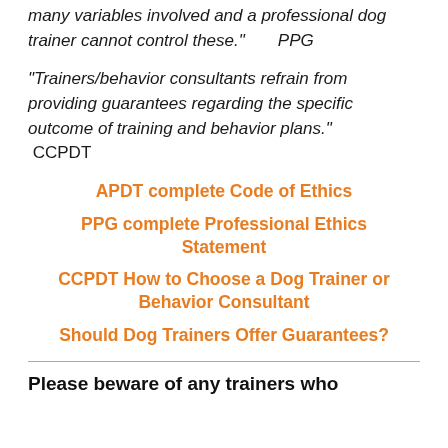many variables involved and a professional dog trainer cannot control these."   PPG
"Trainers/behavior consultants refrain from providing guarantees regarding the specific outcome of training and behavior plans."  CCPDT
APDT complete Code of Ethics
PPG complete Professional Ethics Statement
CCPDT How to Choose a Dog Trainer or Behavior Consultant
Should Dog Trainers Offer Guarantees?
Please beware of any trainers who